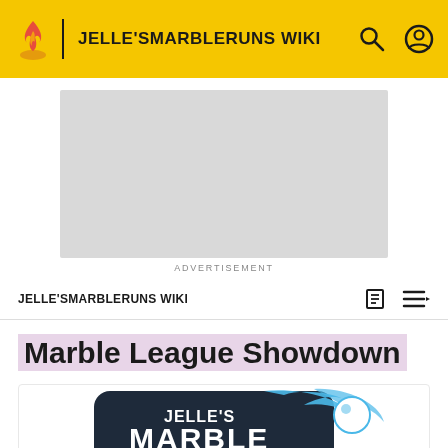JELLE'SMARBLERUNS WIKI
[Figure (other): Advertisement placeholder box]
ADVERTISEMENT
JELLE'SMARBLERUNS WIKI
Marble League Showdown
[Figure (logo): Jelle's Marble Runs logo with blue marble and dark background, text: JELLE'S MARBLE RUNS THE MARBLE MASTER]